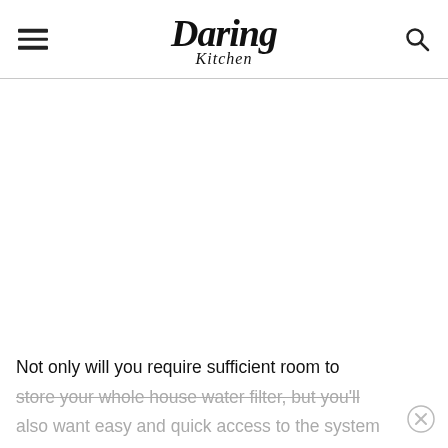Daring Kitchen
[Figure (other): Blank white image area below the header, representing an advertisement or image placeholder]
Not only will you require sufficient room to store your whole house water filter, but you'll also want easy and quick access to the system